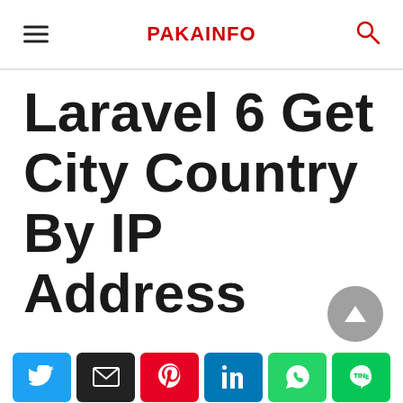PAKAINFO
Laravel 6 Get City Country By IP Address
[Figure (other): Scroll-to-top button: dark gray circle with upward triangle arrow]
Social share buttons: Twitter, Email, Pinterest, LinkedIn, WhatsApp, LINE